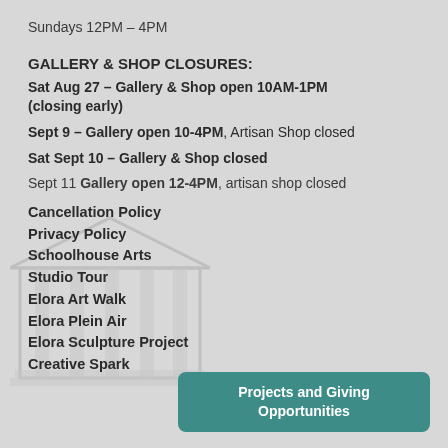Sundays 12PM – 4PM
GALLERY & SHOP CLOSURES:
Sat Aug 27 – Gallery & Shop open 10AM-1PM (closing early)
Sept 9 – Gallery open 10-4PM, Artisan Shop closed
Sat Sept 10 – Gallery & Shop closed
Sept 11 Gallery open 12-4PM, artisan shop closed
Cancellation Policy
Privacy Policy
Schoolhouse Arts
Studio Tour
Elora Art Walk
Elora Plein Air
Elora Sculpture Project
Creative Spark
Projects and Giving Opportunities